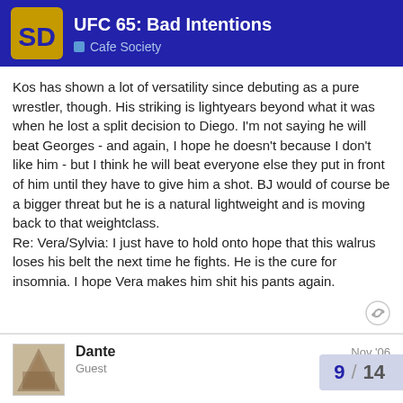UFC 65: Bad Intentions | Cafe Society
Kos has shown a lot of versatility since debuting as a pure wrestler, though. His striking is lightyears beyond what it was when he lost a split decision to Diego. I'm not saying he will beat Georges - and again, I hope he doesn't because I don't like him - but I think he will beat everyone else they put in front of him until they have to give him a shot. BJ would of course be a bigger threat but he is a natural lightweight and is moving back to that weightclass.
Re: Vera/Sylvia: I just have to hold onto hope that this walrus loses his belt the next time he fights. He is the cure for insomnia. I hope Vera makes him shit his pants again.
Dante
Guest
Nov '06
I don't think I've ever seen GSP look so tig